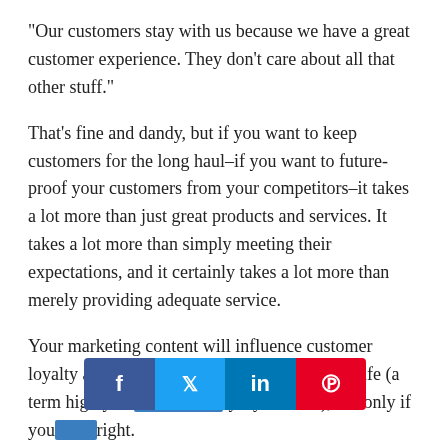“Our customers stay with us because we have a great customer experience. They don’t care about all that other stuff.”
That’s fine and dandy, but if you want to keep customers for the long haul–if you want to future-proof your customers from your competitors–it takes a lot more than just great products and services. It takes a lot more than simply meeting their expectations, and it certainly takes a lot more than merely providing adequate service.
Your marketing content will influence customer loyalty and will help you build customers for life (a term highly ov… ly try and use), but only if you do it right.
[Figure (infographic): Social media sharing bar with Facebook (f), Twitter (bird), LinkedIn (in), and Pinterest (P) icons in their respective brand colors.]